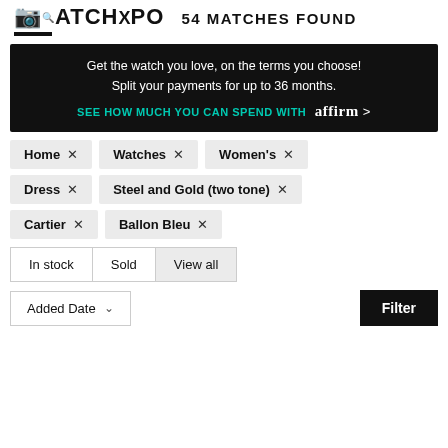54 MATCHES FOUND
[Figure (logo): WatchExpo logo with icon and underline bar]
Get the watch you love, on the terms you choose! Split your payments for up to 36 months. SEE HOW MUCH YOU CAN SPEND WITH affirm >
Home ×
Watches ×
Women's ×
Dress ×
Steel and Gold (two tone) ×
Cartier ×
Ballon Bleu ×
In stock  Sold  View all
Added Date ∨
Filter